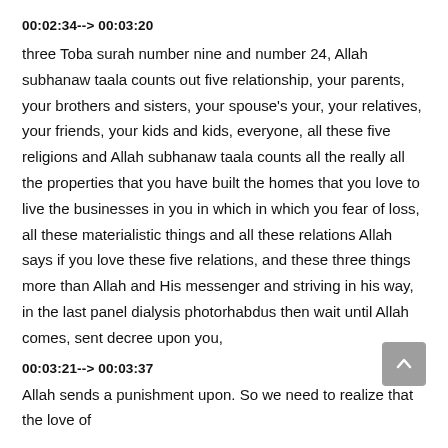00:02:34--> 00:03:20
three Toba surah number nine and number 24, Allah subhanaw taala counts out five relationship, your parents, your brothers and sisters, your spouse's your, your relatives, your friends, your kids and kids, everyone, all these five religions and Allah subhanaw taala counts all the really all the properties that you have built the homes that you love to live the businesses in you in which in which you fear of loss, all these materialistic things and all these relations Allah says if you love these five relations, and these three things more than Allah and His messenger and striving in his way, in the last panel dialysis photorhabdus then wait until Allah comes, sent decree upon you,
00:03:21--> 00:03:37
Allah sends a punishment upon. So we need to realize that the love of